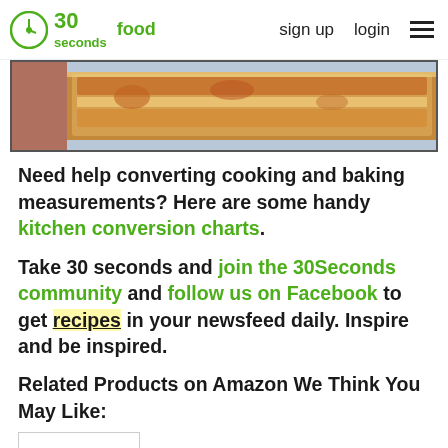30seconds food | sign up | login
[Figure (photo): Food photo showing a baked/grilled dish, appears to be a pizza or flatbread with cheese, cropped at top]
Need help converting cooking and baking measurements? Here are some handy kitchen conversion charts.
Take 30 seconds and join the 30Seconds community and follow us on Facebook to get recipes in your newsfeed daily. Inspire and be inspired.
Related Products on Amazon We Think You May Like:
[Figure (other): Partial content box at bottom of page]